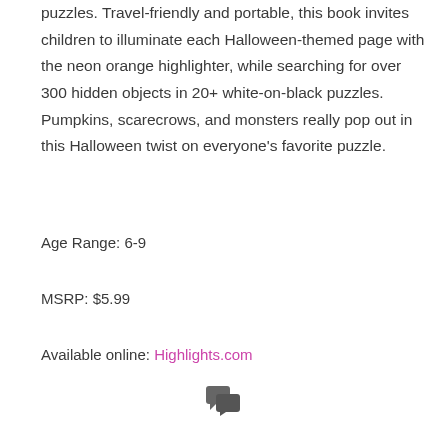puzzles. Travel-friendly and portable, this book invites children to illuminate each Halloween-themed page with the neon orange highlighter, while searching for over 300 hidden objects in 20+ white-on-black puzzles. Pumpkins, scarecrows, and monsters really pop out in this Halloween twist on everyone’s favorite puzzle.
Age Range: 6-9
MSRP: $5.99
Available online: Highlights.com
[Figure (illustration): Two overlapping speech bubble / comment icons in dark gray]